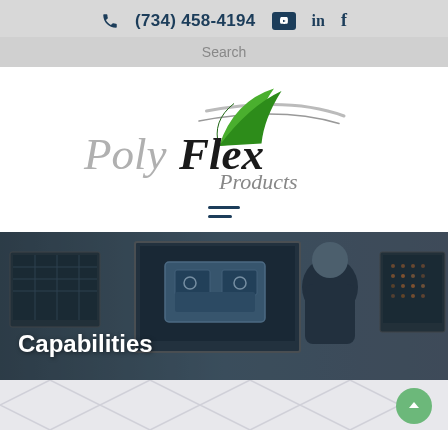(734) 458-4194
Search
[Figure (logo): PolyFlex Products logo with green leaf/feather graphic swoosh and text 'PolyFlex Products']
[Figure (photo): Engineering workspace with two monitors showing CAD design of a component; a person with glasses and gray hair is seen from behind working at the workstation]
Capabilities